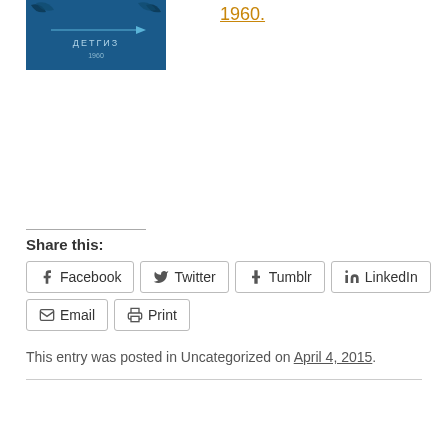[Figure (illustration): Blue book cover with Cyrillic text ДЕТГИЗ 1960 and decorative leaf/branch design]
1960.
Share this:
Facebook  Twitter  Tumblr  LinkedIn  Email  Print
This entry was posted in Uncategorized on April 4, 2015.